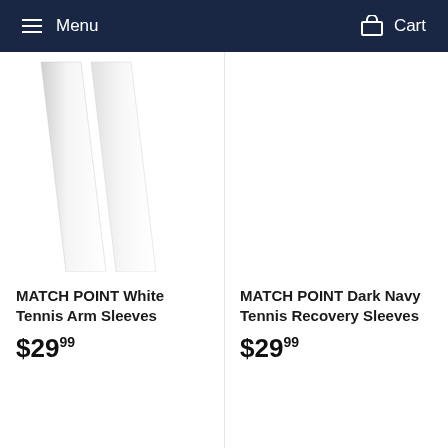Menu   Cart
[Figure (photo): Two white arm sleeves photographed against a white background, left product column]
MATCH POINT White Tennis Arm Sleeves
$29.99
[Figure (photo): Dark navy arm sleeves product image area — mostly white/empty background, right product column]
MATCH POINT Dark Navy Tennis Recovery Sleeves
$29.99